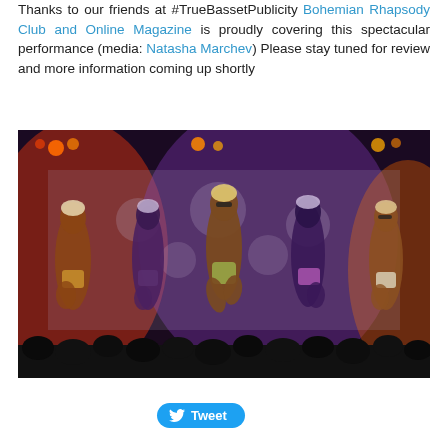Thanks to our friends at #TrueBassetPublicity Bohemian Rhapsody Club and Online Magazine is proudly covering this spectacular performance (media: Natasha Marchev) Please stay tuned for review and more information coming up shortly
[Figure (photo): Five dancers performing on stage under colorful stage lighting (red, purple, orange). The dancers are wearing traditional/tribal costumes with head wraps and waist wraps. They appear to be mid-jump. The background shows a decorated screen/backdrop. The silhouettes of an audience are visible at the bottom.]
Tweet